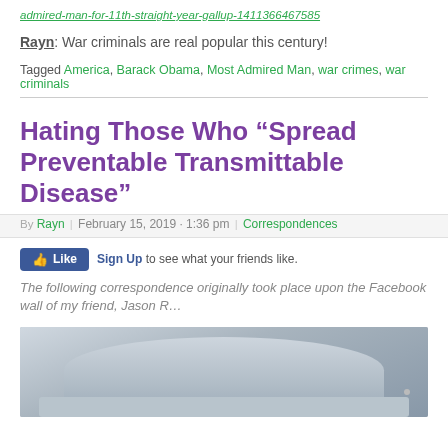admired-man-for-11th-straight-year-gallup-1411366467585
Rayn: War criminals are real popular this century!
Tagged America, Barack Obama, Most Admired Man, war crimes, war criminals
Hating Those Who “Spread Preventable Transmittable Disease”
By Rayn | February 15, 2019 · 1:36 pm | Correspondences
Sign Up to see what your friends like.
The following correspondence originally took place upon the Facebook wall of my friend, Jason R…
[Figure (photo): Photo of a person wearing a white/light gray hat, cropped to show mostly the hat and top of head]